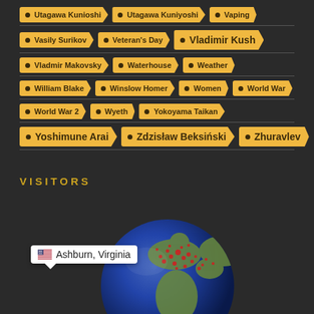Utagawa Kunioshi
Utagawa Kuniyoshi
Vaping
Vasily Surikov
Veteran's Day
Vladimir Kush
Vladmir Makovsky
Waterhouse
Weather
William Blake
Winslow Homer
Women
World War
World War 2
Wyeth
Yokoyama Taikan
Yoshimune Arai
Zdzisław Beksiński
Zhuravlev
VISITORS
[Figure (map): Interactive globe showing visitor locations with a tooltip indicating Ashburn, Virginia with a US flag]